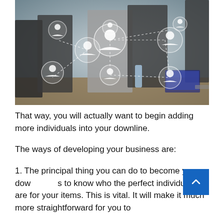[Figure (photo): Business meeting photo showing a group of professional people in a conference room with network/social connection overlay icons (white circular person icons connected by dashed lines)]
That way, you will actually want to begin adding more individuals into your downline.
The ways of developing your business are:
1. The principal thing you can do to become your downlines to know who the perfect individuals are for your items. This is vital. It will make it much more straightforward for you to